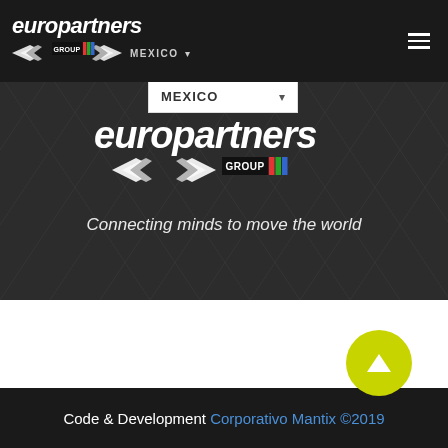[Figure (logo): Europartners Group logo in white on dark header bar with hamburger menu icon and Mexico country selector dropdown]
[Figure (logo): Europartners Group central logo with hands icon and GROUP badge with colored stripes on dark hero background]
Connecting minds to move the world
[Figure (other): Yellow-green circular scroll-to-top button with upward chevron arrow]
Code & Development Corporativo Mantix ©2019